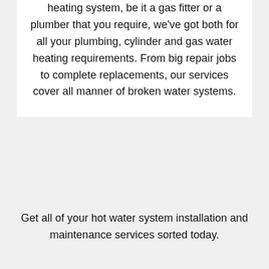heating system, be it a gas fitter or a plumber that you require, we've got both for all your plumbing, cylinder and gas water heating requirements. From big repair jobs to complete replacements, our services cover all manner of broken water systems.
Get all of your hot water system installation and maintenance services sorted today.